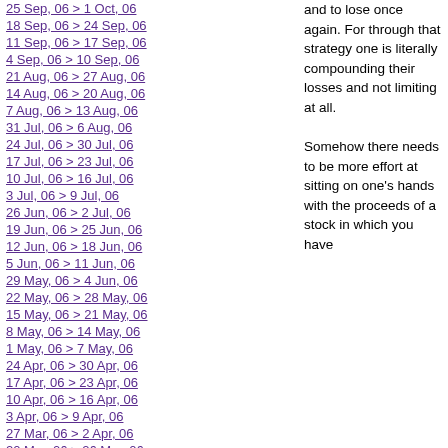25 Sep, 06 > 1 Oct, 06
18 Sep, 06 > 24 Sep, 06
11 Sep, 06 > 17 Sep, 06
4 Sep, 06 > 10 Sep, 06
21 Aug, 06 > 27 Aug, 06
14 Aug, 06 > 20 Aug, 06
7 Aug, 06 > 13 Aug, 06
31 Jul, 06 > 6 Aug, 06
24 Jul, 06 > 30 Jul, 06
17 Jul, 06 > 23 Jul, 06
10 Jul, 06 > 16 Jul, 06
3 Jul, 06 > 9 Jul, 06
26 Jun, 06 > 2 Jul, 06
19 Jun, 06 > 25 Jun, 06
12 Jun, 06 > 18 Jun, 06
5 Jun, 06 > 11 Jun, 06
29 May, 06 > 4 Jun, 06
22 May, 06 > 28 May, 06
15 May, 06 > 21 May, 06
8 May, 06 > 14 May, 06
1 May, 06 > 7 May, 06
24 Apr, 06 > 30 Apr, 06
17 Apr, 06 > 23 Apr, 06
10 Apr, 06 > 16 Apr, 06
3 Apr, 06 > 9 Apr, 06
27 Mar, 06 > 2 Apr, 06
20 Mar, 06 > 26 Mar, 06
13 Mar, 06 > 19 Mar, 06
and to lose once again. For through that strategy one is literally compounding their losses and not limiting at all.

Somehow there needs to be more effort at sitting on one's hands with the proceeds of a stock in which you have